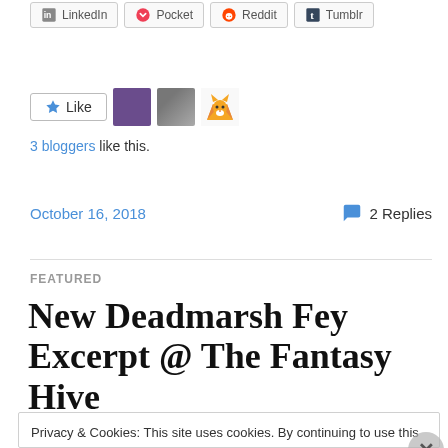[Figure (other): Social share buttons row: LinkedIn, Pocket, Reddit, Tumblr]
[Figure (other): Like button with star icon and three blogger avatars]
3 bloggers like this.
October 16, 2018
2 Replies
FEATURED
New Deadmarsh Fey Excerpt @ The Fantasy Hive
Privacy & Cookies: This site uses cookies. By continuing to use this website, you agree to their use. To find out more, including how to control cookies, see here: Cookie Policy
Close and accept